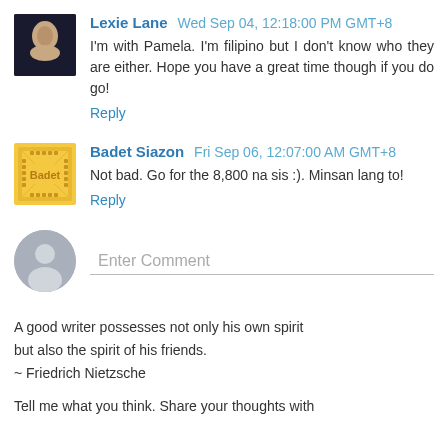Lexie Lane  Wed Sep 04, 12:18:00 PM GMT+8
I'm with Pamela. I'm filipino but I don't know who they are either. Hope you have a great time though if you do go!
Reply
Badet Siazon  Fri Sep 06, 12:07:00 AM GMT+8
Not bad. Go for the 8,800 na sis :). Minsan lang to!
Reply
Enter Comment
A good writer possesses not only his own spirit but also the spirit of his friends.
~ Friedrich Nietzsche
Tell me what you think. Share your thoughts with